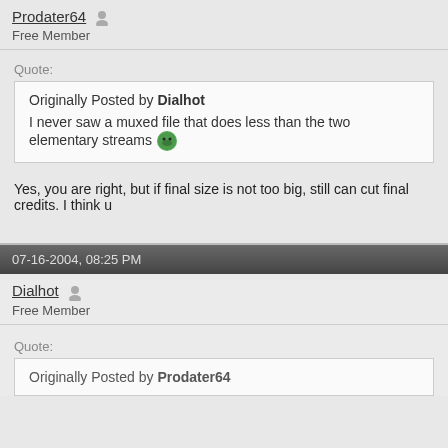Prodater64 - Free Member
Quote:
Originally Posted by Dialhot
I never saw a muxed file that does less than the two elementary streams
Yes, you are right, but if final size is not too big, still can cut final credits. I think u
07-16-2004, 08:25 PM
Dialhot - Free Member
Quote:
Originally Posted by Prodater64